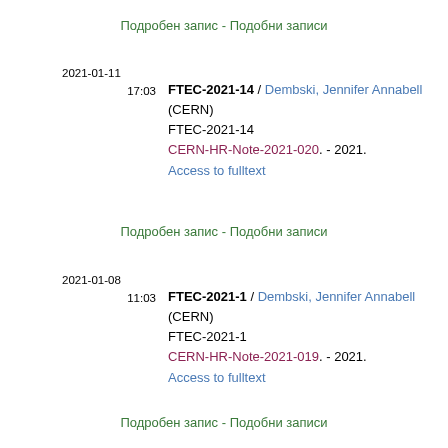Подробен запис - Подобни записи
2021-01-11
17:03
FTEC-2021-14 / Dembski, Jennifer Annabell
(CERN)
FTEC-2021-14
CERN-HR-Note-2021-020. - 2021.
Access to fulltext
Подробен запис - Подобни записи
2021-01-08
11:03
FTEC-2021-1 / Dembski, Jennifer Annabell
(CERN)
FTEC-2021-1
CERN-HR-Note-2021-019. - 2021.
Access to fulltext
Подробен запис - Подобни записи